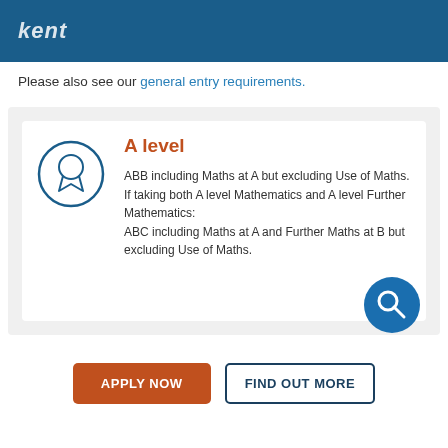kent
Please also see our general entry requirements.
A level
ABB including Maths at A but excluding Use of Maths. If taking both A level Mathematics and A level Further Mathematics: ABC including Maths at A and Further Maths at B but excluding Use of Maths.
APPLY NOW
FIND OUT MORE